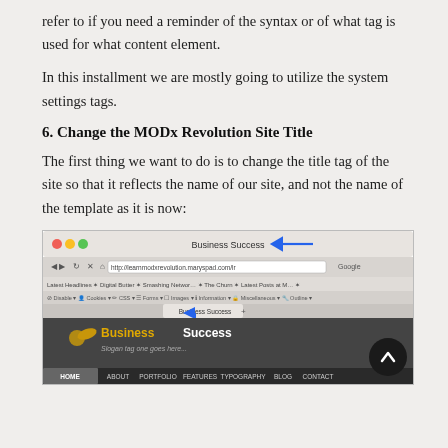refer to if you need a reminder of the syntax or of what tag is used for what content element.
In this installment we are mostly going to utilize the system settings tags.
6. Change the MODx Revolution Site Title
The first thing we want to do is to change the title tag of the site so that it reflects the name of our site, and not the name of the template as it is now:
[Figure (screenshot): Browser screenshot showing 'Business Success' as the page title tab, with the URL bar showing http://learnmodxrevolution.maryspad.com/lr, browser bookmarks bar, and a webpage header with 'Business Success' logo, slogan, and navigation menu (HOME, ABOUT, PORTFOLIO, FEATURES, TYPOGRAPHY, BLOG, CONTACT). A blue arrow points to the browser tab title.]